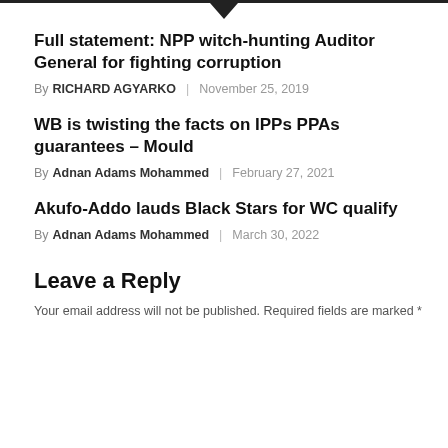Full statement: NPP witch-hunting Auditor General for fighting corruption
By RICHARD AGYARKO | November 25, 2019
WB is twisting the facts on IPPs PPAs guarantees – Mould
By Adnan Adams Mohammed | February 27, 2021
Akufo-Addo lauds Black Stars for WC qualify
By Adnan Adams Mohammed | March 30, 2022
Leave a Reply
Your email address will not be published. Required fields are marked *